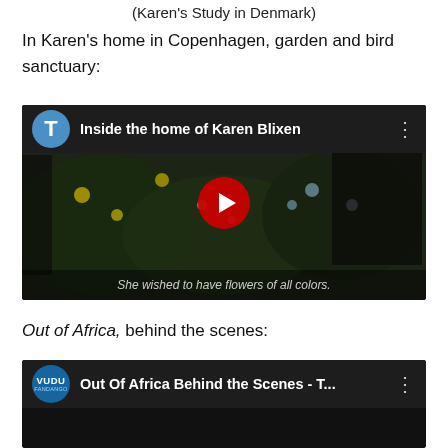(Karen's Study in Denmark)
In Karen's home in Copenhagen, garden and bird sanctuary:
[Figure (screenshot): YouTube video thumbnail showing 'Inside the home of Karen Blixen' with a T avatar icon, flowers in a dark room, a red play button, and subtitle text 'She wished to have flowers of all colors.']
Out of Africa, behind the scenes:
[Figure (screenshot): Video thumbnail showing 'Out Of Africa Behind the Scenes - T...' with a VUDU Fandango avatar icon on a dark background.]